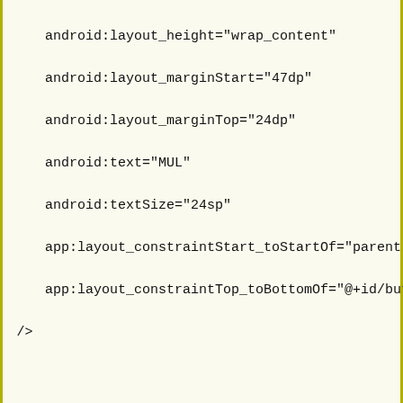android:layout_height="wrap_content"
        android:layout_marginStart="47dp"
        android:layout_marginTop="24dp"
        android:text="MUL"
        android:textSize="24sp"
        app:layout_constraintStart_toStartOf="parent"
        app:layout_constraintTop_toBottomOf="@+id/but"
/>

    <Button
        android:id="@+id/button4"
        android:layout_width="wrap_content"
        android:layout_height="wrap_content"
        android:layout_marginStart="37dp"
        android:layout_marginTop="25dp"
        android:text="DIV"
        android:textSize="24sp"
        app:layout_constraintStart_toEndOf="@+id/butto"
        app:layout_constraintTop_toBottomOf="@+id/but"
/>